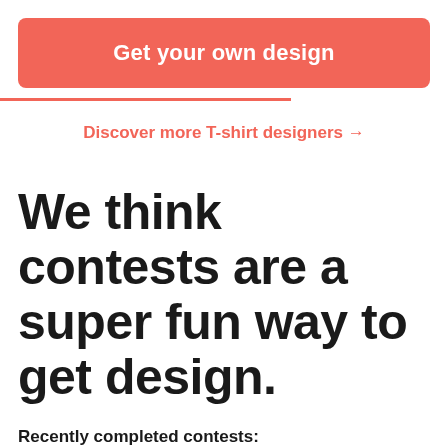Get your own design
Discover more T-shirt designers →
We think contests are a super fun way to get design.
Recently completed contests: